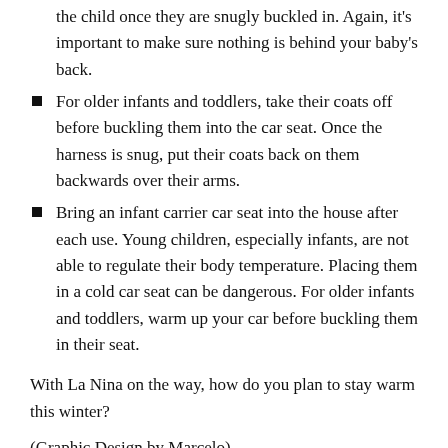them once they are snugly buckled in. Again, it's important to make sure nothing is behind your baby's back.
For older infants and toddlers, take their coats off before buckling them into the car seat. Once the harness is snug, put their coats back on them backwards over their arms.
Bring an infant carrier car seat into the house after each use. Young children, especially infants, are not able to regulate their body temperature. Placing them in a cold car seat can be dangerous. For older infants and toddlers, warm up your car before buckling them in their seat.
With La Nina on the way, how do you plan to stay warm this winter?
(Graphic Design by Marcelo)
Annette O'Connor is a contributing features writer at CreditDonkey, a